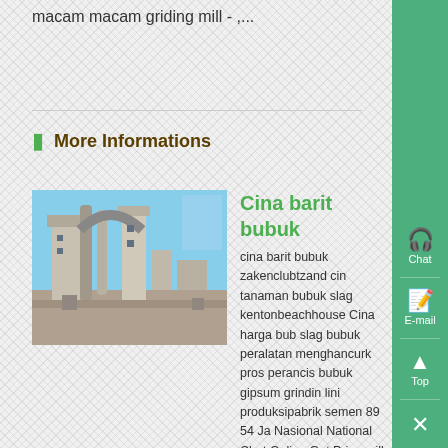macam macam griding mill - ,...
More Informations
[Figure (photo): Industrial grinding mill facility with large structures and pipes against a blue sky]
Cina barit bubuk
cina barit bubuk zakenclubtzand cina tanaman bubuk slag kentonbeachhouse Cina harga bub slag bubuk peralatan menghancurk pros perancis bubuk gipsum grindin lini produksipabrik semen 89 54 Ja Nasional National Chat Online Get Price mill grinding bubuk slag bluepearlhotels harga mesin crushe bahan copper slag Ball Mill Consult online...